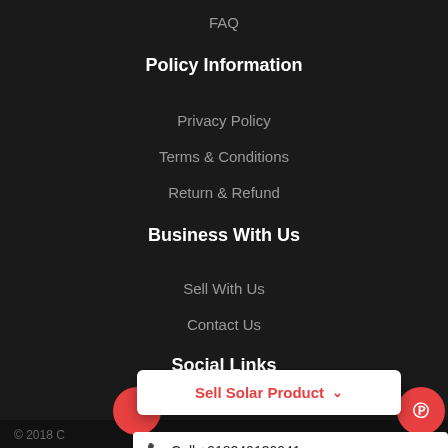FAQ
Policy Information
Privacy Policy
Terms & Conditions
Return & Refund
Business With Us
Sell With Us
Contact Us
Social Links
[Figure (screenshot): Dropdown button labeled 'Sell Solar Product' with a red chevron on a white card, flanked by two red circular icon buttons (left blank, right Pinterest symbol)]
Call +918240130941
Click 2 [whatsapp] 8240130941
© 2018 C...